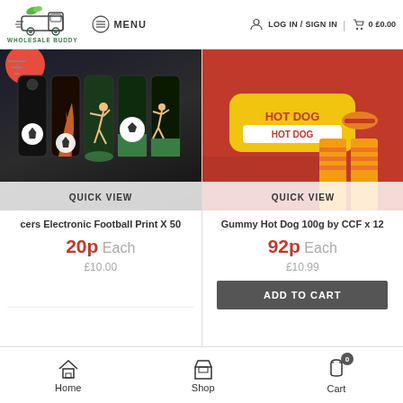WHOLESALE BUDDY | MENU | LOG IN / SIGN IN | 0  £0.00
[Figure (screenshot): Left product: soccer-themed electronic lighters, multiple cylindrical containers with football print designs, dark background. QUICK VIEW overlay at bottom.]
[Figure (screenshot): Right product: Gummy Hot Dog 100g by CCF x12, red box packaging with hot dog imagery. QUICK VIEW overlay at bottom.]
cers Electronic Football Print X 50
20p Each
£10.00
Gummy Hot Dog 100g by CCF x 12
92p Each
£10.99
ADD TO CART
Home  Shop  Cart